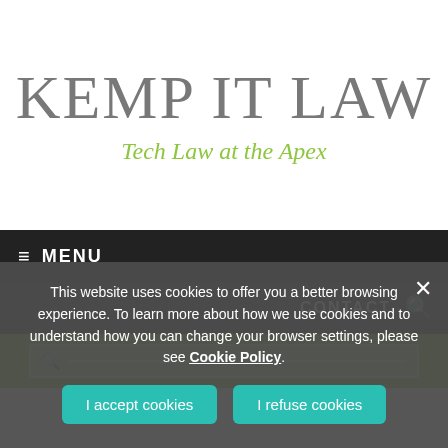KEMP IT LAW
Tech Law at the Apex
≡  MENU
CONTACT 🔍
This website uses cookies to offer you a better browsing experience. To learn more about how we use cookies and to understand how you can change your browser settings, please see Cookie Policy.
I accept cookies
I refuse cookies